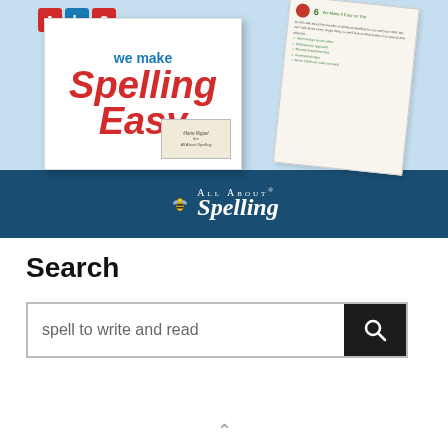[Figure (illustration): All About Spelling promotional banner featuring a book cover with 'we make Spelling Easy' text in red and blue, overlapping document pages, and the All About Spelling logo on a dark blue background.]
Search
spell to write and read